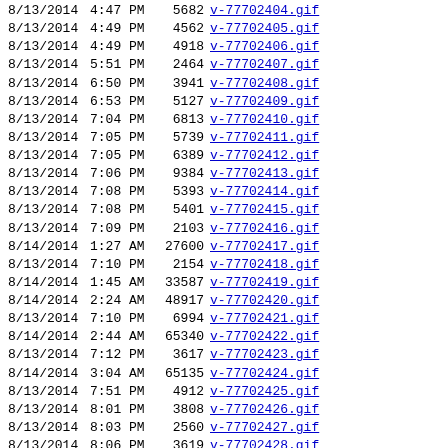| Date | Time | Size | Filename |
| --- | --- | --- | --- |
| 8/13/2014 | 4:47 PM | 5682 | v-77702404.gif |
| 8/13/2014 | 4:49 PM | 4562 | v-77702405.gif |
| 8/13/2014 | 4:49 PM | 4918 | v-77702406.gif |
| 8/13/2014 | 5:51 PM | 2464 | v-77702407.gif |
| 8/13/2014 | 6:50 PM | 3941 | v-77702408.gif |
| 8/13/2014 | 6:53 PM | 5127 | v-77702409.gif |
| 8/13/2014 | 7:04 PM | 6813 | v-77702410.gif |
| 8/13/2014 | 7:05 PM | 5739 | v-77702411.gif |
| 8/13/2014 | 7:05 PM | 6389 | v-77702412.gif |
| 8/13/2014 | 7:06 PM | 9384 | v-77702413.gif |
| 8/13/2014 | 7:08 PM | 5393 | v-77702414.gif |
| 8/13/2014 | 7:08 PM | 5401 | v-77702415.gif |
| 8/13/2014 | 7:09 PM | 2103 | v-77702416.gif |
| 8/14/2014 | 1:27 AM | 27600 | v-77702417.gif |
| 8/13/2014 | 7:10 PM | 2154 | v-77702418.gif |
| 8/14/2014 | 1:45 AM | 33587 | v-77702419.gif |
| 8/14/2014 | 2:24 AM | 48917 | v-77702420.gif |
| 8/13/2014 | 7:10 PM | 6994 | v-77702421.gif |
| 8/14/2014 | 2:44 AM | 65340 | v-77702422.gif |
| 8/13/2014 | 7:12 PM | 3617 | v-77702423.gif |
| 8/14/2014 | 3:04 AM | 65135 | v-77702424.gif |
| 8/13/2014 | 7:51 PM | 4912 | v-77702425.gif |
| 8/13/2014 | 8:01 PM | 3808 | v-77702426.gif |
| 8/13/2014 | 8:03 PM | 2560 | v-77702427.gif |
| 8/13/2014 | 8:06 PM | 3619 | v-77702428.gif |
| 8/13/2014 | 8:07 PM | 6477 | v-77702429.gif |
| 8/13/2014 | 8:11 PM | 5754 | v-77702430.gif |
| 8/13/2014 | 8:16 PM | 4006 | v-77702431.gif |
| 8/13/2014 | 8:17 PM | 5959 | v-77702432.gif |
| 8/13/2014 | 8:18 PM | 11068 | v-77702433.gif |